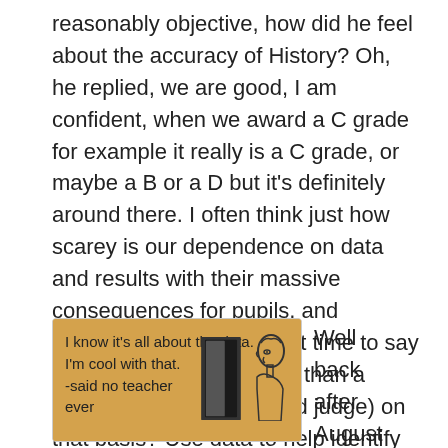reasonably objective, how did he feel about the accuracy of History? Oh, he replied, we are good, I am confident, when we award a C grade for example it really is a C grade, or maybe a B or a D but it's definitely around there. I often think just how scarey is our dependence on data and results with their massive consequences for pupils, and teachers and schools. Is it time to say exams are more of an art than a science and just plan (and judge) on that basis? Use data to help identify issues but tackling the issues is the challenge. SLT we need to make sure our teachers have enough of the right info.
[Figure (illustration): A meme-style illustration on a tan/golden background showing a cartoon figure standing in a doorway. Text reads: 'I know it's all about the data. I'm cool with that. -said no teacher ever']
Well back after August